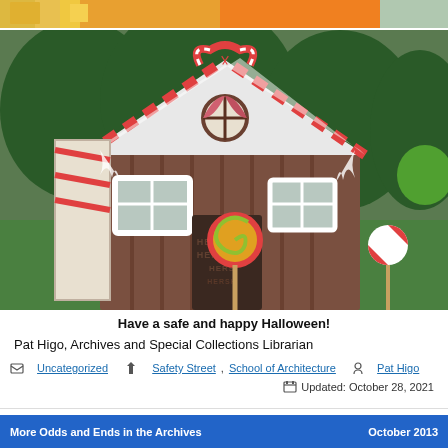[Figure (photo): Top of page showing partial Halloween/autumn themed image with orange pumpkin colors and green, cropped at top]
[Figure (photo): A gingerbread house built from large cardboard/wood panels decorated with candy cane stripes, Hershey chocolate branding on the door, lollipop decorations, and peppermint swirl candy props on sticks, set on a grassy lawn with trees in the background]
Have a safe and happy Halloween!
Pat Higo, Archives and Special Collections Librarian
Uncategorized  Safety Street, School of Architecture  Pat Higo  Updated: October 28, 2021
More Odds and Ends in the Archives   October 2013